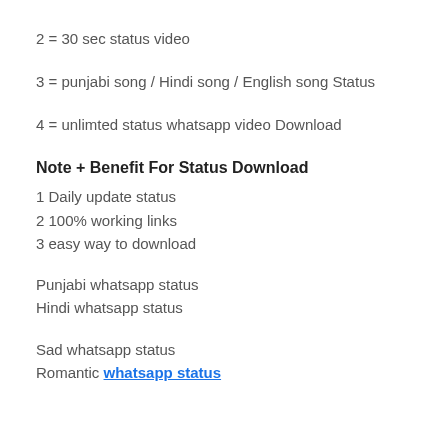2 = 30 sec status video
3 = punjabi song / Hindi song / English song Status
4 = unlimted status whatsapp video Download
Note + Benefit For Status Download
1 Daily update status
2 100% working links
3 easy way to download
Punjabi whatsapp status
Hindi whatsapp status
Sad whatsapp status
Romantic whatsapp status